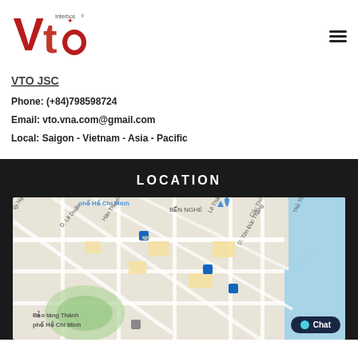[Figure (logo): VTO Interboss logo in red and dark colors]
VTO JSC
Phone: (+84)798598724
Email: vto.vna.com@gmail.com
Local: Saigon - Vietnam - Asia - Pacific
LOCATION
[Figure (map): Google Maps showing Ho Chi Minh City area with streets including D. Le Duan, Han Thuyen, Le Thanh, Ton Duc Thang, Ben Nghe district, Bao tang Thanh pho Ho Chi Minh, and Cau Thu Thiem]